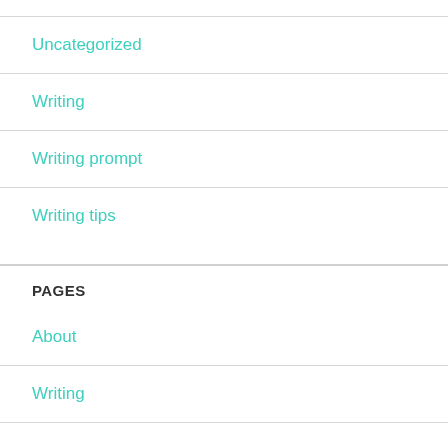Uncategorized
Writing
Writing prompt
Writing tips
PAGES
About
Writing